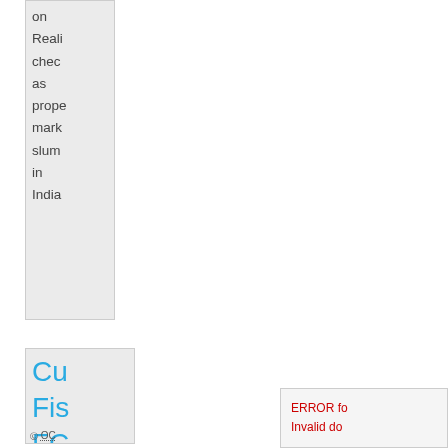on
Reali
chec
as
prope
mark
slum
in
India
Cu
Fis
FC
ma
mi
ta
by
10
Bil
Do
ERROR fo
Invalid do